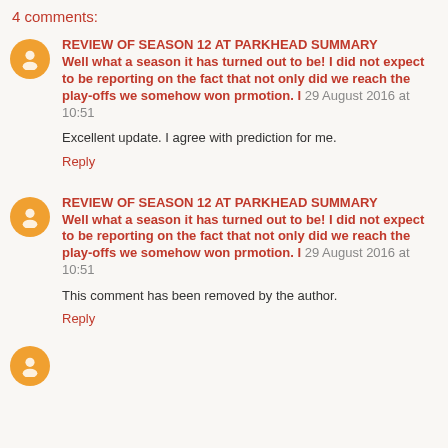4 comments:
REVIEW OF SEASON 12 AT PARKHEAD SUMMARY Well what a season it has turned out to be! I did not expect to be reporting on the fact that not only did we reach the play-offs we somehow won prmotion. I 29 August 2016 at 10:51
Excellent update. I agree with prediction for me.
Reply
REVIEW OF SEASON 12 AT PARKHEAD SUMMARY Well what a season it has turned out to be! I did not expect to be reporting on the fact that not only did we reach the play-offs we somehow won prmotion. I 29 August 2016 at 10:51
This comment has been removed by the author.
Reply